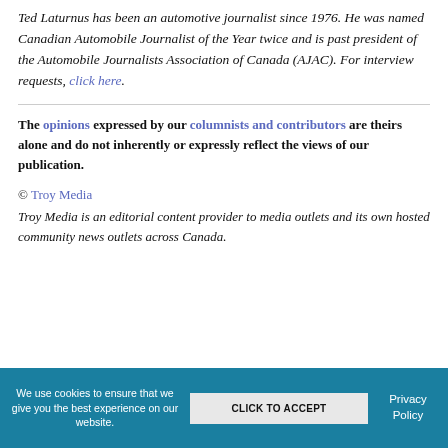Ted Laturnus has been an automotive journalist since 1976. He was named Canadian Automobile Journalist of the Year twice and is past president of the Automobile Journalists Association of Canada (AJAC). For interview requests, click here.
The opinions expressed by our columnists and contributors are theirs alone and do not inherently or expressly reflect the views of our publication.
© Troy Media
Troy Media is an editorial content provider to media outlets and its own hosted community news outlets across Canada.
We use cookies to ensure that we give you the best experience on our website. CLICK TO ACCEPT Privacy Policy